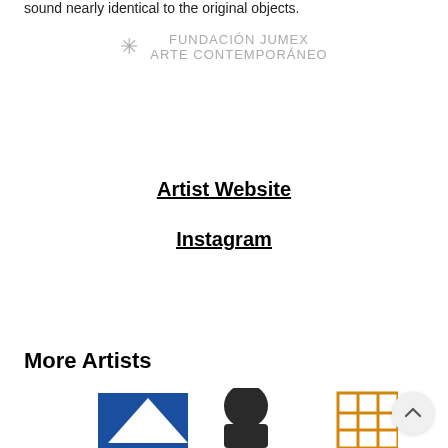sound nearly identical to the original objects.
[Figure (logo): Fundación Jumex Arte Contemporáneo logo with asterisk symbol]
Artist Website
Instagram
More Artists
[Figure (photo): Partial artwork image showing blue and orange geometric shapes with a figure]